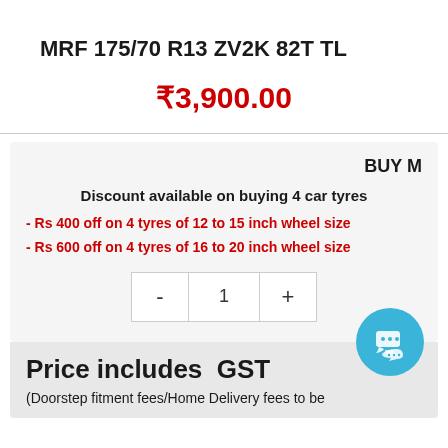MRF 175/70 R13 ZV2K 82T TL
₹3,900.00
BUY M
Discount available on buying 4 car tyres
- Rs 400 off on 4 tyres of 12 to 15 inch wheel size
- Rs 600 off on 4 tyres of 16 to 20 inch wheel size
1
Price includes  GST
(Doorstep fitment fees/Home Delivery fees to be